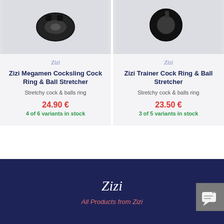[Figure (photo): Product photo of Zizi Megamen Cocksling Cock Ring & Ball Stretcher, black device on light background]
Zizi
Zizi Megamen Cocksling Cock Ring & Ball Stretcher
Stretchy cock & balls ring
24.90 €
4 of 6 variants in stock
[Figure (photo): Product photo of Zizi Trainer Cock Ring & Ball Stretcher, black device on light background]
Zizi
Zizi Trainer Cock Ring & Ball Stretcher
Stretchy cock & balls ring
23.50 €
3 of 5 variants in stock
Zizi
All Products from Zizi